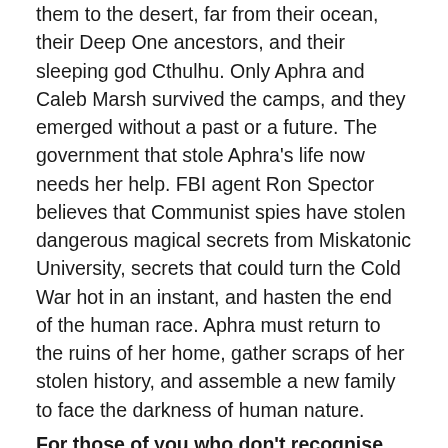them to the desert, far from their ocean, their Deep One ancestors, and their sleeping god Cthulhu. Only Aphra and Caleb Marsh survived the camps, and they emerged without a past or a future. The government that stole Aphra's life now needs her help. FBI agent Ron Spector believes that Communist spies have stolen dangerous magical secrets from Miskatonic University, secrets that could turn the Cold War hot in an instant, and hasten the end of the human race. Aphra must return to the ruins of her home, gather scraps of her stolen history, and assemble a new family to face the darkness of human nature.
For those of you who don't recognise the references, Winter Tide is set in the world of H.P. Lovecraft, the famous horror and dark fantasy short story writer and novelist.
I fell in love with this cover, so in a totally within...